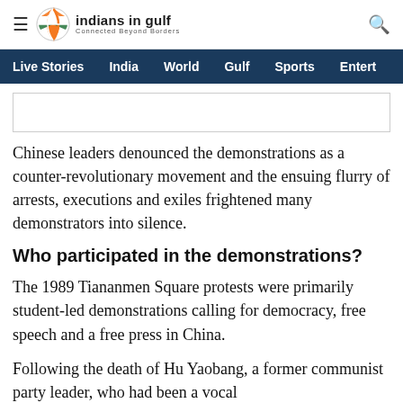Indians in Gulf — Connected Beyond Borders
Live Stories | India | World | Gulf | Sports | Entert
[Figure (other): Empty image placeholder box]
Chinese leaders denounced the demonstrations as a counter-revolutionary movement and the ensuing flurry of arrests, executions and exiles frightened many demonstrators into silence.
Who participated in the demonstrations?
The 1989 Tiananmen Square protests were primarily student-led demonstrations calling for democracy, free speech and a free press in China.
Following the death of Hu Yaobang, a former communist party leader, who had been a vocal